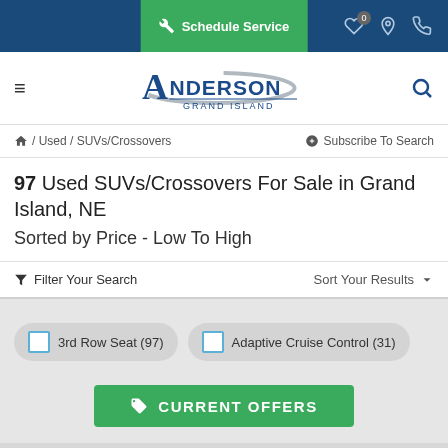Schedule Service
[Figure (logo): Anderson Grand Island dealership logo with swoosh graphic]
/ Used / SUVs/Crossovers
Subscribe To Search
97 Used SUVs/Crossovers For Sale in Grand Island, NE
Sorted by Price - Low To High
Filter Your Search
Sort Your Results
3rd Row Seat (97)
Adaptive Cruise Control (31)
CURRENT OFFERS